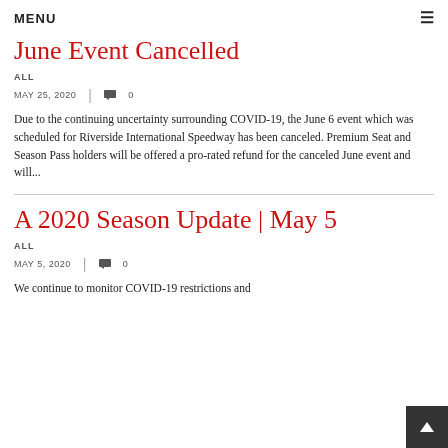MENU ≡
June Event Cancelled
ALL
MAY 25, 2020  | 💬 0
Due to the continuing uncertainty surrounding COVID-19, the June 6 event which was scheduled for Riverside International Speedway has been canceled. Premium Seat and Season Pass holders will be offered a pro-rated refund for the canceled June event and will...
A 2020 Season Update | May 5
ALL
MAY 5, 2020  | 💬 0
We continue to monitor COVID-19 restrictions and